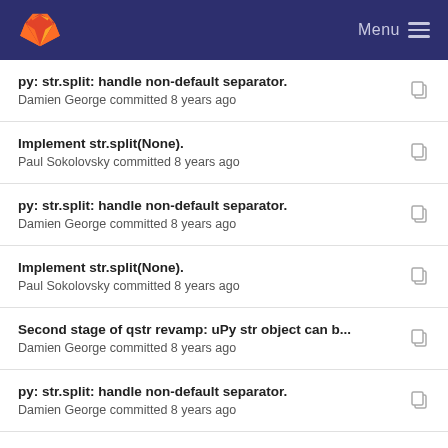Menu
py: str.split: handle non-default separator.
Damien George committed 8 years ago
Implement str.split(None).
Paul Sokolovsky committed 8 years ago
py: str.split: handle non-default separator.
Damien George committed 8 years ago
Implement str.split(None).
Paul Sokolovsky committed 8 years ago
Second stage of qstr revamp: uPy str object can b...
Damien George committed 8 years ago
py: str.split: handle non-default separator.
Damien George committed 8 years ago